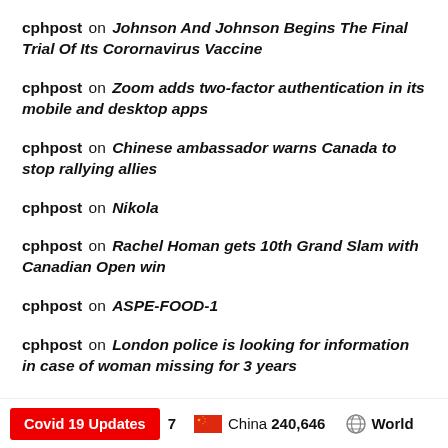cphpost on Johnson And Johnson Begins The Final Trial Of Its Corornavirus Vaccine
cphpost on Zoom adds two-factor authentication in its mobile and desktop apps
cphpost on Chinese ambassador warns Canada to stop rallying allies
cphpost on Nikola
cphpost on Rachel Homan gets 10th Grand Slam with Canadian Open win
cphpost on ASPE-FOOD-1
cphpost on London police is looking for information in case of woman missing for 3 years
cphpost on amazon-prime-day-2020-sale-in-india-date-details-about-amazon-prime-day-5f198f0b1375f-1595510539
Covid 19 Updates  7  China  240,646  World